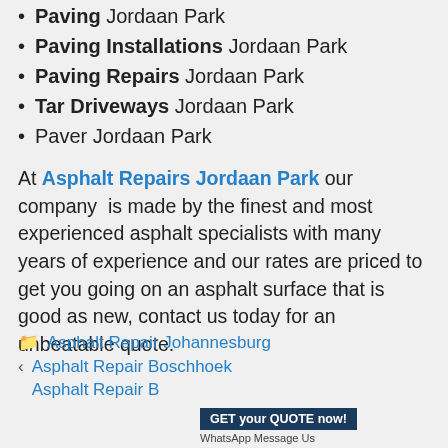Paving Jordaan Park
Paving Installations Jordaan Park
Paving Repairs Jordaan Park
Tar Driveways Jordaan Park
Paver Jordaan Park
At Asphalt Repairs Jordaan Park our company is made by the finest and most experienced asphalt specialists with many years of experience and our rates are priced to get you going on an asphalt surface that is good as new, contact us today for an unbeatable quote.
Asphalt Repair Johannesburg
Asphalt Repair Boschhoek
GET your QUOTE now! WhatsApp Message Us